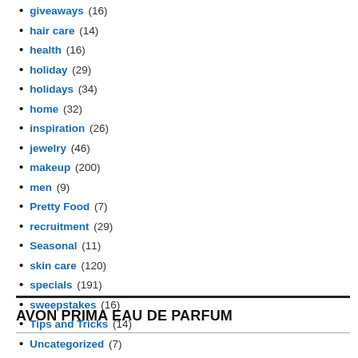giveaways (16)
hair care (14)
health (16)
holiday (29)
holidays (34)
home (32)
inspiration (26)
jewelry (46)
makeup (200)
men (9)
Pretty Food (7)
recruitment (29)
Seasonal (11)
skin care (120)
specials (191)
sweepstakes (16)
Tips and Tricks (14)
Uncategorized (7)
whats new (104)
AVON PRIMA EAU DE PARFUM